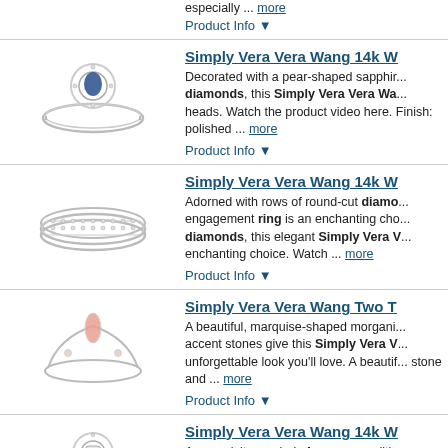especially ... more
Product Info ▼
Simply Vera Vera Wang 14k W...
[Figure (photo): Silver ring with pear-shaped blue sapphire center stone surrounded by diamonds]
Decorated with a pear-shaped sapphire and diamonds, this Simply Vera Vera Wa... heads. Watch the product video here. Finish: polished ... more
Product Info ▼
Simply Vera Vera Wang 14k W...
[Figure (photo): Wide band silver ring adorned with rows of round-cut diamonds]
Adorned with rows of round-cut diamonds, engagement ring is an enchanting cho... diamonds, this elegant Simply V... enchanting choice. Watch ... more
Product Info ▼
Simply Vera Vera Wang Two T...
[Figure (photo): Silver ring with marquise-shaped morganite center stone]
A beautiful, marquise-shaped morgani... accent stones give this Simply Vera V... unforgettable look you'll love. A beautif... stone and ... more
Product Info ▼
Simply Vera Vera Wang 14k W...
[Figure (photo): Silver halo engagement ring with diamonds]
An exquisite symbol of your unconditi... engagement ring is bound to be cheris... array of illuminating diamonds, this 1...